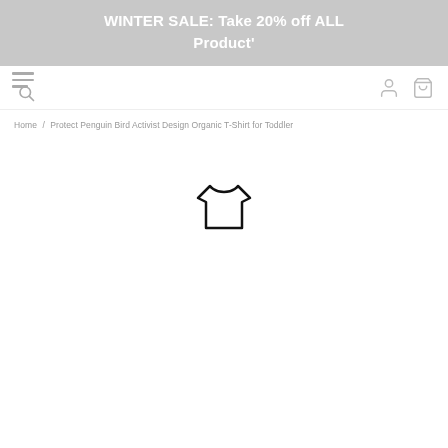WINTER SALE: Take 20% off ALL Product'
[Figure (screenshot): Navigation bar with hamburger menu and search icon on the left, user account icon and shopping bag icon on the right]
Home / Protect Penguin Bird Activist Design Organic T-Shirt for Toddler
[Figure (illustration): T-shirt icon outline in black, centered on the page, loading placeholder for product image]